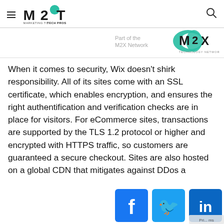M2T – Marketing to Tech Pros
[Figure (logo): M2X Network – Part of the M2X Technology Network logo]
When it comes to security, Wix doesn't shirk responsibility. All of its sites come with an SSL certificate, which enables encryption, and ensures the right authentification and verification checks are in place for visitors. For eCommerce sites, transactions are supported by the TLS 1.2 protocol or higher and encrypted with HTTPS traffic, so customers are guaranteed a secure checkout. Sites are also hosted on a global CDN that mitigates against DDos a...
[Figure (illustration): Social share buttons: Facebook, Twitter, LinkedIn]